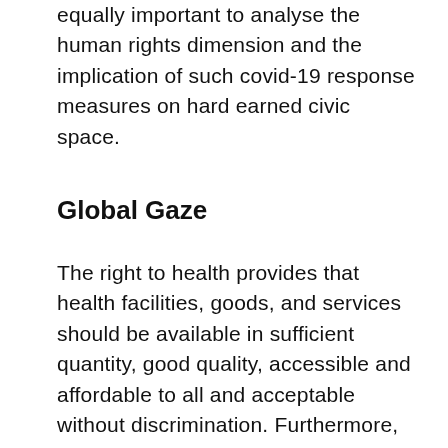equally important to analyse the human rights dimension and the implication of such covid-19 response measures on hard earned civic space.
Global Gaze
The right to health provides that health facilities, goods, and services should be available in sufficient quantity, good quality, accessible and affordable to all and acceptable without discrimination. Furthermore, the United Nations Committee on Economic, Social and Cultural Rights has stated that the right to health is closely related to, and dependent upon, the realization of other human rights. These include the right to food, housing, work, education, human dignity, life, non-discrimination,